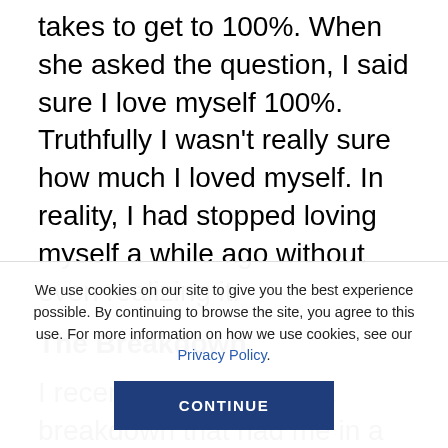takes to get to 100%. When she asked the question, I said sure I love myself 100%. Truthfully I wasn't really sure how much I loved myself. In reality, I had stopped loving myself a while ago without even realizing it.
The Breakdown
I recently experienced a breakdown that had me in a really dark place emotionally.
It all started the day before when I injured my groin. I had just completed a legs workout and felt some
We use cookies on our site to give you the best experience possible. By continuing to browse the site, you agree to this use. For more information on how we use cookies, see our Privacy Policy.